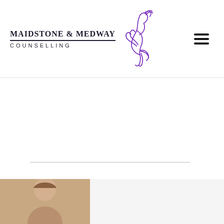[Figure (logo): Maidstone & Medway Counselling logo with rearing horse illustration in purple and text]
[Figure (photo): Partial view of a person at the bottom left of the page]